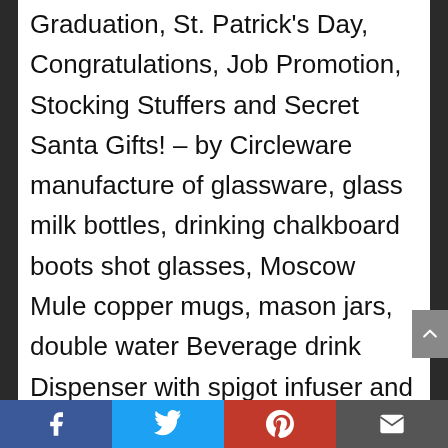Graduation, St. Patrick's Day, Congratulations, Job Promotion, Stocking Stuffers and Secret Santa Gifts! – by Circleware manufacture of glassware, glass milk bottles, drinking chalkboard boots shot glasses, Moscow Mule copper mugs, mason jars, double water Beverage drink Dispenser with spigot infuser and metal stand, Butterfly butter dish, bar Cups, olive oil and balsamic vinegar Cruet set, sun tea pitcher, beer mug, chafer, dishes, party drink accessories, whiskey Liquor decanter, trifle bowls, food containers, gravy boat, solid barrel stemless wine, mill ceramic salt and pepper kitchen Set